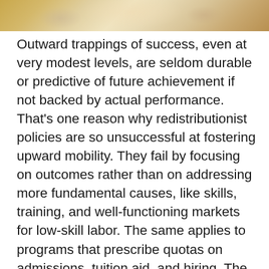[Figure (illustration): Partial view of a classical painting with ornate gold frame, showing figures in a baroque or renaissance style artwork.]
Outward trappings of success, even at very modest levels, are seldom durable or predictive of future achievement if not backed by actual performance. That's one reason why redistributionist policies are so unsuccessful at fostering upward mobility. They fail by focusing on outcomes rather than on addressing more fundamental causes, like skills, training, and well-functioning markets for low-skill labor. The same applies to programs that prescribe quotas on admissions, tuition aid, and hiring. The beneficiaries of these programs are often placed into situations in which they are unprepared. This makes them vulnerable to stigmatization and ultimately failure. And when poor performance is in any way ignored or forgiven, it has an impact on the psyche of the individual and their reputation, and it creates losses to the rest of society.